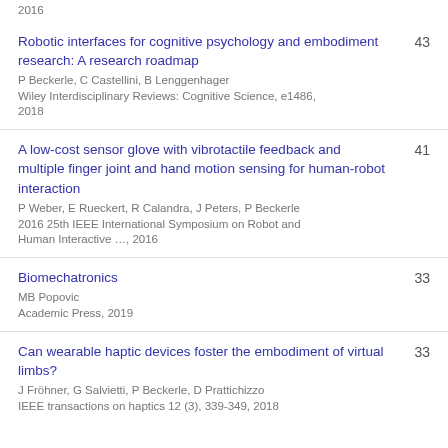2016
Robotic interfaces for cognitive psychology and embodiment research: A research roadmap
P Beckerle, C Castellini, B Lenggenhager
Wiley Interdisciplinary Reviews: Cognitive Science, e1486, 2018
43
A low-cost sensor glove with vibrotactile feedback and multiple finger joint and hand motion sensing for human-robot interaction
P Weber, E Rueckert, R Calandra, J Peters, P Beckerle
2016 25th IEEE International Symposium on Robot and Human Interactive …, 2016
41
Biomechatronics
MB Popovic
Academic Press, 2019
33
Can wearable haptic devices foster the embodiment of virtual limbs?
J Fröhner, G Salvietti, P Beckerle, D Prattichizzo
IEEE transactions on haptics 12 (3), 339-349, 2018
33